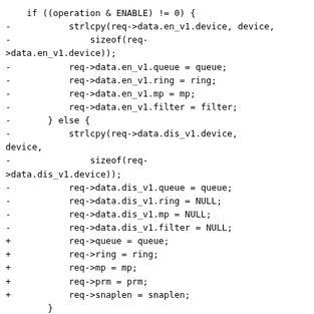Code diff showing changes to pdump_prepare_client_request function including en_v1/dis_v1 field assignments being replaced with direct req-> field assignments